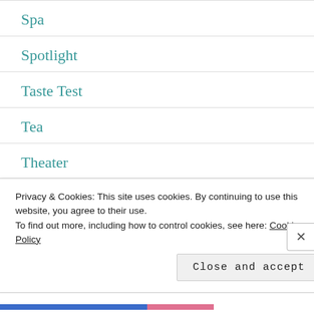Spa
Spotlight
Taste Test
Tea
Theater
Uncategorized
Vacation
Wellness
Privacy & Cookies: This site uses cookies. By continuing to use this website, you agree to their use.
To find out more, including how to control cookies, see here: Cookie Policy
Close and accept